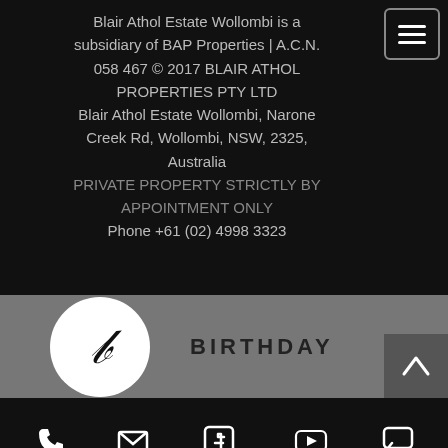Blair Athol Estate Wollombi is a subsidiary of BAP Properties | A.C.N. 058 467 © 2017 BLAIR ATHOL PROPERTIES PTY LTD
Blair Athol Estate Wollombi, Narone Creek Rd, Wollombi, NSW, 2325, Australia
PRIVATE PROPERTY STRICTLY BY APPOINTMENT ONLY
Phone  +61 (02) 4998 3323
[Figure (logo): White circle with a decorative cursive letter B in black, followed by the word BIRTHDAY in bold spaced capitals]
BIRTHDAY
[Figure (infographic): Bottom navigation bar with icons and labels: Phone, Email, Faceb..., Youtube, Chat]